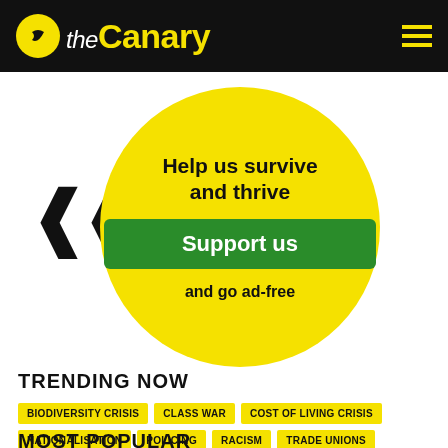theCanary
[Figure (infographic): Yellow circle promotional banner with black double chevron arrows to the left. Text reads: Help us survive and thrive. Green button: Support us. Text: and go ad-free.]
TRENDING NOW
BIODIVERSITY CRISIS
CLASS WAR
COST OF LIVING CRISIS
NATIONALISATION
POLICING
RACISM
TRADE UNIONS
MOST POPULAR